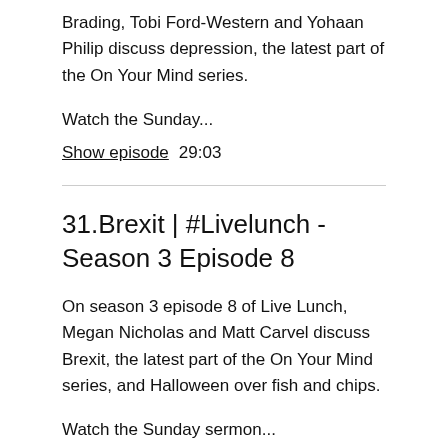Brading, Tobi Ford-Western and Yohaan Philip discuss depression, the latest part of the On Your Mind series.
Watch the Sunday...
Show episode   29:03
31.Brexit | #Livelunch - Season 3 Episode 8
On season 3 episode 8 of Live Lunch, Megan Nicholas and Matt Carvel discuss Brexit, the latest part of the On Your Mind series, and Halloween over fish and chips.
Watch the Sunday sermon...
Show episode   21:49
30.Suicide | #Livelunch - Season 3 Episode 7